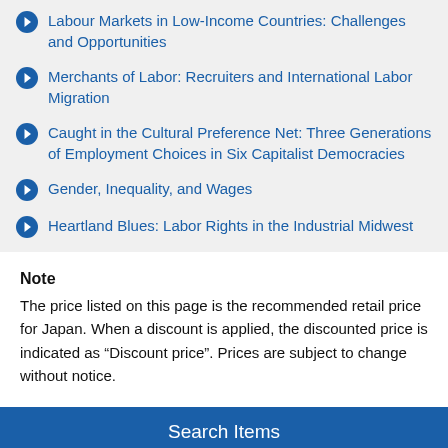Labour Markets in Low-Income Countries: Challenges and Opportunities
Merchants of Labor: Recruiters and International Labor Migration
Caught in the Cultural Preference Net: Three Generations of Employment Choices in Six Capitalist Democracies
Gender, Inequality, and Wages
Heartland Blues: Labor Rights in the Industrial Midwest
Note
The price listed on this page is the recommended retail price for Japan. When a discount is applied, the discounted price is indicated as “Discount price”. Prices are subject to change without notice.
Search Items